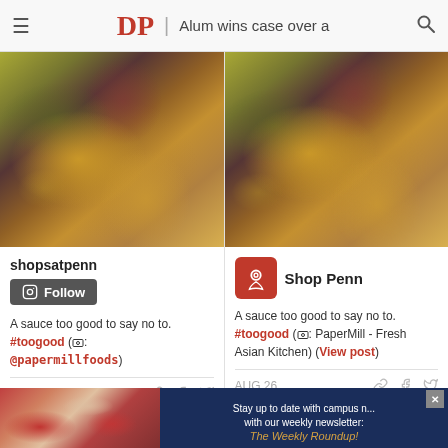DP | Alum wins case over a
[Figure (photo): Close-up photo of Asian spring rolls with peanut sauce drizzled on top, left card]
shopsatpenn
Follow
A sauce too good to say no to. #toogood (📷: @papermillfoods)
AUG 26
[Figure (photo): Close-up photo of Asian spring rolls with peanut sauce drizzled on top, right card]
Shop Penn
A sauce too good to say no to. #toogood (📷: PaperMill - Fresh Asian Kitchen) (View post)
AUG 26
[Figure (photo): Advertisement banner at bottom: crowd photo with Stay up to date with campus news with our weekly newsletter: The Weekly Roundup!]